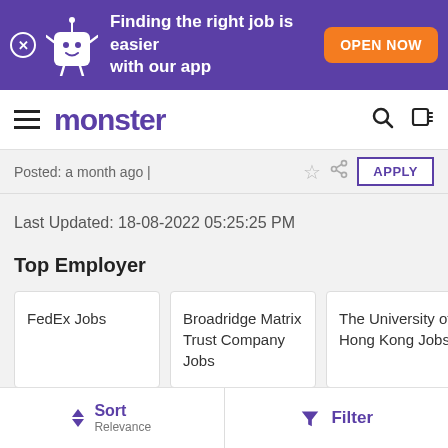[Figure (screenshot): Monster.com mobile app promotional banner with mascot character, text 'Finding the right job is easier with our app' and orange 'OPEN NOW' button]
monster
Posted: a month ago |
Last Updated: 18-08-2022  05:25:25 PM
Top Employer
FedEx Jobs
Broadridge Matrix Trust Company Jobs
The University of Hong Kong Jobs
Sort
Relevance
Filter